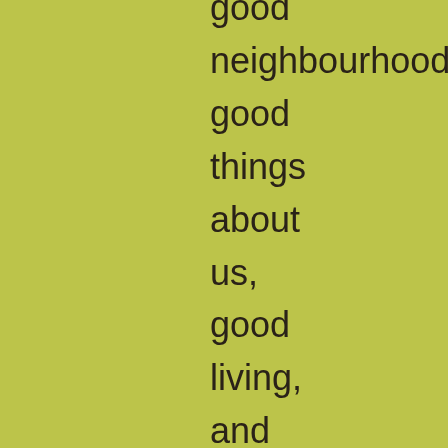good neighbourhood, good things about us, good living, and good society. I say, live like our means, without extravagance, and